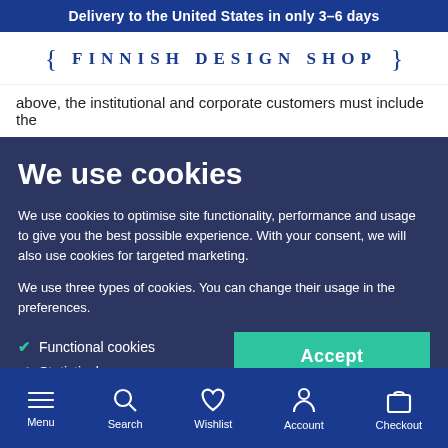Delivery to the United States in only 3–6 days
[Figure (logo): Finnish Design Shop logo with curly braces]
above, the institutional and corporate customers must include the
We use cookies
We use cookies to optimise site functionality, performance and usage to give you the best possible experience. With your consent, we will also use cookies for targeted marketing.
We use three types of cookies. You can change their usage in the preferences.
Functional cookies
Statistical
Advertising
Accept
More information
Menu  Search  Wishlist  Account  Checkout